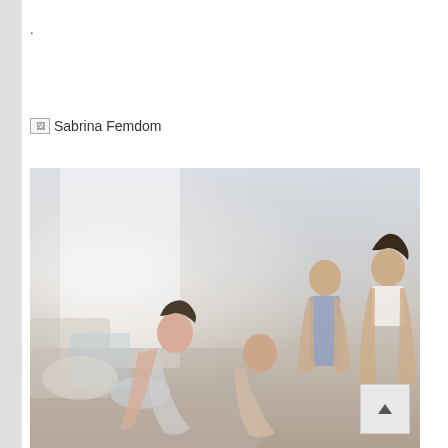.
[Figure (photo): Broken image placeholder showing 'Sabrina Femdom' alt text with broken image icon]
[Figure (photo): A photograph showing multiple people in a bedroom/living room setting]